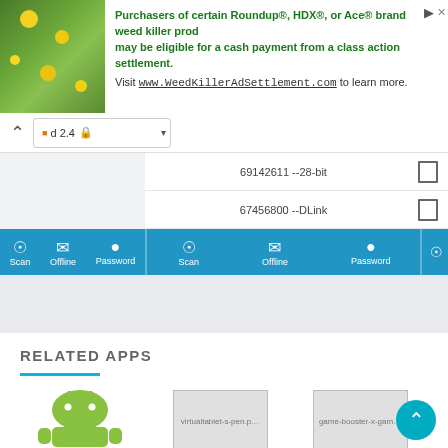[Figure (screenshot): Advertisement banner for Roundup weed killer class action settlement with plant photo]
Purchasers of certain Roundup®, HDX®, or Ace® brand weed killer products may be eligible for a cash payment from a class action settlement. Visit www.WeedKillerAdSettlement.com to learn more.
[Figure (screenshot): WiFi password app UI showing network entries 69142611 --28-bit and 67456800 --DLink with Scan, Offline, Password blue toolbar buttons]
RELATED APPS
APK Parser
VirtualTablet (S-Pen)
Game Booster X: G...